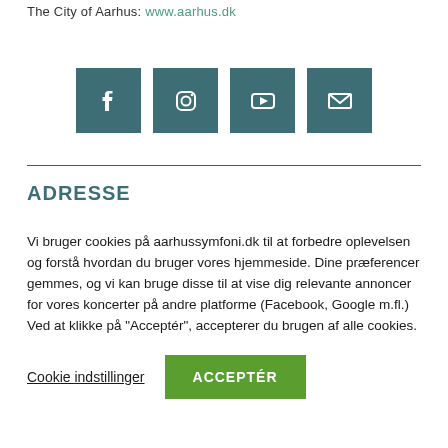The City of Aarhus: www.aarhus.dk
[Figure (infographic): Four social media icon buttons: Facebook, Instagram, YouTube, and email/envelope, each in a teal square.]
ADRESSE
Vi bruger cookies på aarhussymfoni.dk til at forbedre oplevelsen og forstå hvordan du bruger vores hjemmeside. Dine præferencer gemmes, og vi kan bruge disse til at vise dig relevante annoncer for vores koncerter på andre platforme (Facebook, Google m.fl.) Ved at klikke på "Acceptér", accepterer du brugen af alle cookies.
Cookie indstillinger   ACCEPTÉR